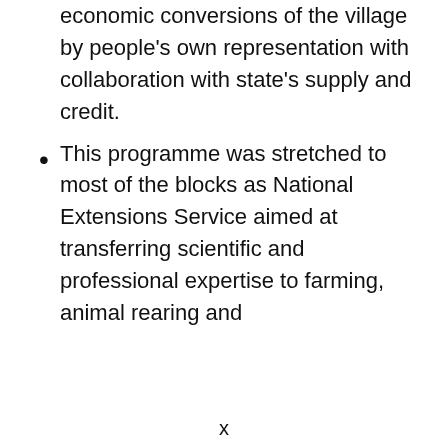economic conversions of the village by people's own representation with collaboration with state's supply and credit.
This programme was stretched to most of the blocks as National Extensions Service aimed at transferring scientific and professional expertise to farming, animal rearing and
x